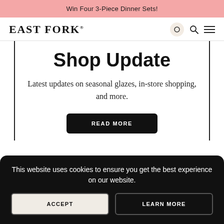Win Four 3-Piece Dinner Sets!
EAST FORK®
Shop Update
Latest updates on seasonal glazes, in-store shopping, and more.
READ MORE
This website uses cookies to ensure you get the best experience on our website.
ACCEPT
LEARN MORE